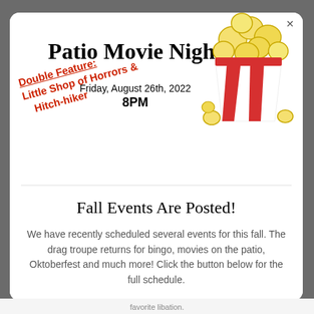Patio Movie Night
Friday, August 26th, 2022
8PM
Double Feature: Little Shop of Horrors & Hitch-hiker
[Figure (illustration): Cartoon popcorn bucket with red and white stripes, overflowing with yellow popcorn kernels]
Fall Events Are Posted!
We have recently scheduled several events for this fall. The drag troupe returns for bingo, movies on the patio, Oktoberfest and much more! Click the button below for the full schedule.
favorite libation.